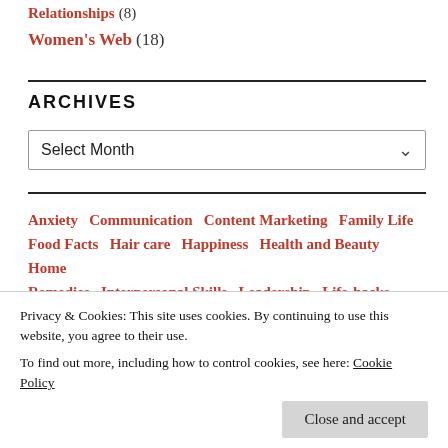Relationships (8)
Women's Web (18)
ARCHIVES
Select Month
Anxiety  Communication  Content Marketing  Family Life  Food Facts  Hair care  Happiness  Health and Beauty  Home Remedies  Interpersonal Skills  Leadership  Life-hacks  Life
Privacy & Cookies: This site uses cookies. By continuing to use this website, you agree to their use.
To find out more, including how to control cookies, see here: Cookie Policy
Close and accept